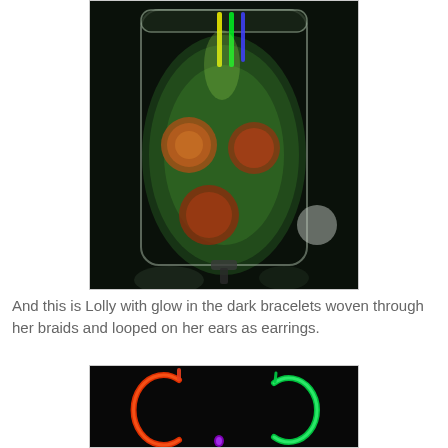[Figure (photo): A dark photo of a large glass drink dispenser jar glowing green, with orange citrus slices visible inside and colorful glow sticks (yellow, blue, green) at the top, set on a dark surface.]
And this is Lolly with glow in the dark bracelets woven through her braids and looped on her ears as earrings.
[Figure (photo): A dark photo showing two glowing bracelets — one red/orange on the left and one green on the right — with a small purple glow item at the bottom center, against a black background.]